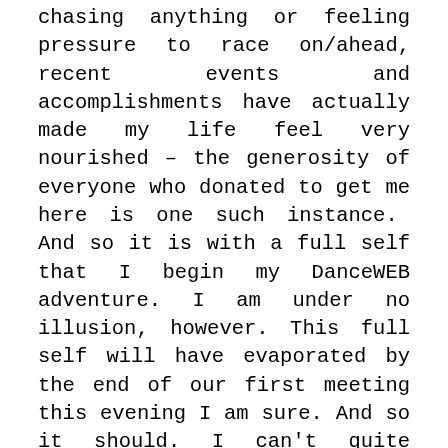chasing anything or feeling pressure to race on/ahead, recent events and accomplishments have actually made my life feel very nourished – the generosity of everyone who donated to get me here is one such instance.  And so it is with a full self that I begin my DanceWEB adventure. I am under no illusion, however. This full self will have evaporated by the end of our first meeting this evening I am sure. And so it should. I can't quite explain this full-but ready-to-be-pulled-apart again feeling and maybe I should be very, VERY careful what I wish for.  Perhaps I simply mean a teasing out from this full space into the unknown but feeling a solid platform underneath my feet nonetheless.  Perhaps life's occurrences often ultimately show that no